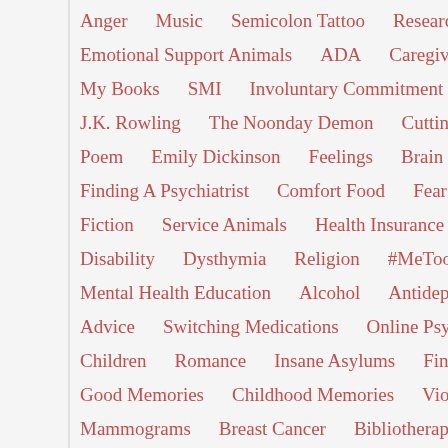Anger | Music | Semicolon Tattoo | Research | Insurance Co... | Emotional Support Animals | ADA | Caregivers | Mood Track... | My Books | SMI | Involuntary Commitment | Politics | Blog... | J.K. Rowling | The Noonday Demon | Cutting | Cutters | Au... | Poem | Emily Dickinson | Feelings | Brain | Science Report... | Finding A Psychiatrist | Comfort Food | Fear Of Dentists | Par... | Fiction | Service Animals | Health Insurance | Obamacare | Disability | Dysthymia | Religion | #MeToo | Shopping | A... | Mental Health Education | Alcohol | Antidepressants | Book R... | Advice | Switching Medications | Online Psychotherapy | Chr... | Children | Romance | Insane Asylums | Finding A Therapist | Good Memories | Childhood Memories | Violence | Mental H... | Mammograms | Breast Cancer | Bibliotherapy | Dement Ors... | Relationships | Thanksgiving | Christmas | Transcranial Magm...